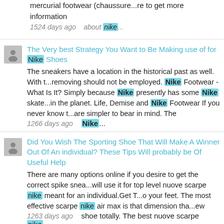mercurial footwear (chaussure...re to get more information
1524 days ago    about nike...
The Very best Strategy You Want to Be Making use of for Nike Shoes
The sneakers have a location in the historical past as well. With t...removing should not be employed. Nike Footwear - What Is It? Simply because Nike presently has some Nike skate...in the planet. Life, Demise and Nike Footwear If you never know t...are simpler to bear in mind. The
1266 days ago    Nike...
Did You Wish The Sporting Shoe That Will Make A Winner Out Of An individual? These Tips Will probably be Of Useful Help
There are many options online if you desire to get the correct spike snea...will use it for top level nuove scarpe nike meant for an individual.Get T...o your feet. The most effective scarpe nike air max is that dimension tha...ew
1263 days ago    shoe totally. The best nuove scarpe nike...